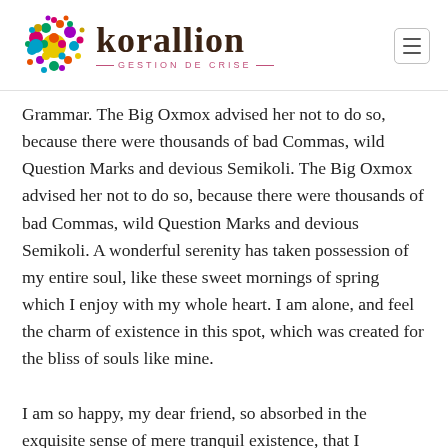[Figure (logo): Korallion logo with colorful dot cluster on the left and the text 'korallion' in dark brown serif font with 'GESTION DE CRISE' subtitle in pink, and a hamburger menu icon on the right]
Grammar. The Big Oxmox advised her not to do so, because there were thousands of bad Commas, wild Question Marks and devious Semikoli. The Big Oxmox advised her not to do so, because there were thousands of bad Commas, wild Question Marks and devious Semikoli. A wonderful serenity has taken possession of my entire soul, like these sweet mornings of spring which I enjoy with my whole heart. I am alone, and feel the charm of existence in this spot, which was created for the bliss of souls like mine.
I am so happy, my dear friend, so absorbed in the exquisite sense of mere tranquil existence, that I